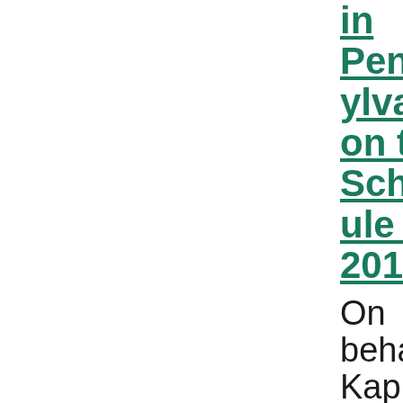in Pennsylvania on the Schedule for 2013?
On behalf of Kaplin Stewart Meloff Reiter & Stein, P.C. posted in